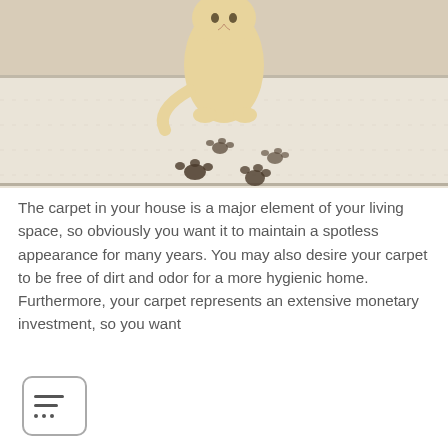[Figure (photo): A yellow/golden cat sitting on a light-colored carpet or rug with muddy paw prints trailing behind it]
The carpet in your house is a major element of your living space, so obviously you want it to maintain a spotless appearance for many years. You may also desire your carpet to be free of dirt and odor for a more hygienic home. Furthermore, your carpet represents an extensive monetary investment, so you want
[Figure (infographic): A square icon with rounded corners containing two horizontal lines and a row of three dots, representing a menu or list icon]